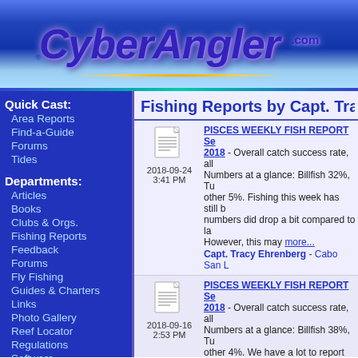CyberAngler.com
Quick Cast:
Area Reports
Find-a-Guide
Forums
Tides
Departments:
Articles
Books
Clubs & Orgs.
Fishing Reports
Feedback
Forums
Fly Fishing
Guides & Charters
Links
Photo Gallery
Reef Locator
Regulations
Software
Survey
Tournaments
Travel
Fishing Reports by Capt. Tra
PISCES WEEKLY FISH REPORT Se 2018 - Overall catch success rate, all Numbers at a glance: Billfish 32%, Tu other 5%. Fishing this week has still b numbers did drop a bit compared to la However, this may more... Capt. Tracy Ehrenberg - Cabo San L
PISCES WEEKLY FISH REPORT Se 2018 - Overall catch success rate, all Numbers at a glance: Billfish 38%, Tu other 4%. We have a lot to report this may know, Pisces Sportfishing turned celebrate we more... Capt. Tracy Ehrenberg - Cabo San L
PISCES FISH REPORT September catch success rate, all species combi glance: Billfish 25%, Tuna 20%, Dora